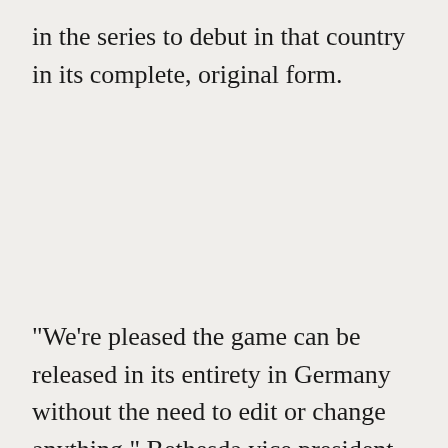in the series to debut in that country in its complete, original form.
"We're pleased the game can be released in its entirety in Germany without the need to edit or change anything," Bethesda vice president of marketing Pete Hines told Polygon. "Perhaps most importantly, it is